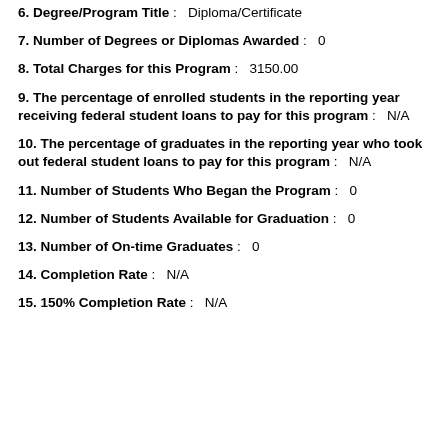6. Degree/Program Title :   Diploma/Certificate
7. Number of Degrees or Diplomas Awarded :   0
8. Total Charges for this Program :   3150.00
9. The percentage of enrolled students in the reporting year receiving federal student loans to pay for this program :   N/A
10. The percentage of graduates in the reporting year who took out federal student loans to pay for this program :   N/A
11. Number of Students Who Began the Program :   0
12. Number of Students Available for Graduation :   0
13. Number of On-time Graduates :   0
14. Completion Rate :   N/A
15. 150% Completion Rate :   N/A